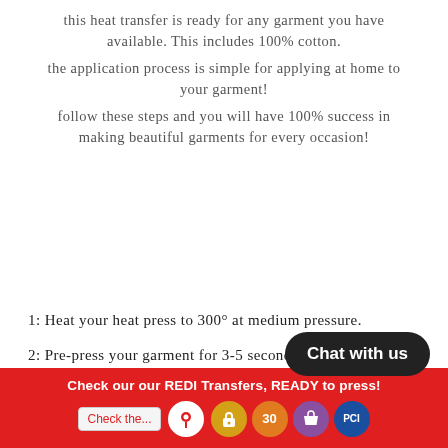this heat transfer is ready for any garment you have available. This includes 100% cotton.
the application process is simple for applying at home to your garment!
follow these steps and you will have 100% success in making beautiful garments for every occasion!
1: Heat your heat press to 300° at medium pressure.
2: Pre-press your garment for 3-5 seconds.
3: Shiny side up, place your REDI Transfer on your garment.
Check our our REDI Transfers, READY to press! Check the...